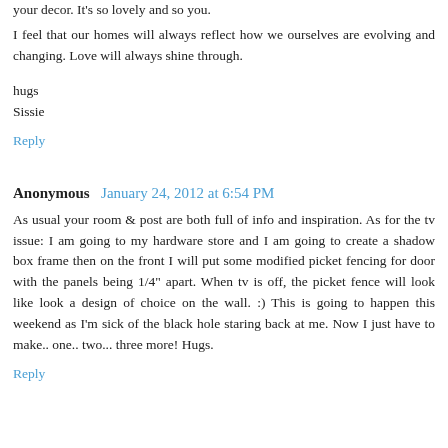your decor. It's so lovely and so you.
I feel that our homes will always reflect how we ourselves are evolving and changing. Love will always shine through.
hugs
Sissie
Reply
Anonymous  January 24, 2012 at 6:54 PM
As usual your room & post are both full of info and inspiration. As for the tv issue: I am going to my hardware store and I am going to create a shadow box frame then on the front I will put some modified picket fencing for door with the panels being 1/4" apart. When tv is off, the picket fence will look like look a design of choice on the wall. :) This is going to happen this weekend as I'm sick of the black hole staring back at me. Now I just have to make.. one.. two... three more! Hugs.
Reply